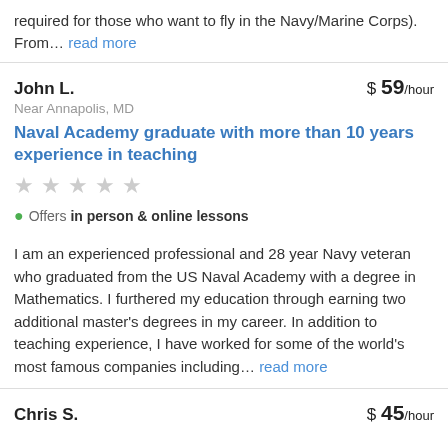required for those who want to fly in the Navy/Marine Corps). From… read more
John L. · $ 59/hour · Near Annapolis, MD · Naval Academy graduate with more than 10 years experience in teaching · Offers in person & online lessons
I am an experienced professional and 28 year Navy veteran who graduated from the US Naval Academy with a degree in Mathematics. I furthered my education through earning two additional master's degrees in my career. In addition to teaching experience, I have worked for some of the world's most famous companies including… read more
Chris S. · $ 45/hour